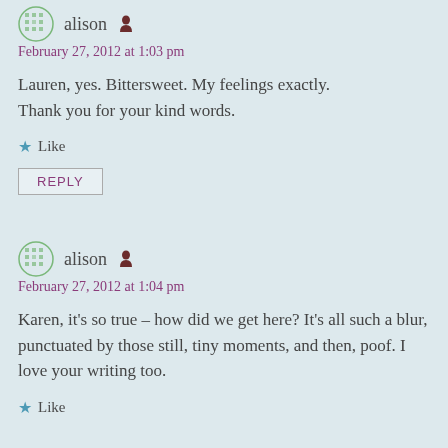alison
February 27, 2012 at 1:03 pm
Lauren, yes. Bittersweet. My feelings exactly. Thank you for your kind words.
Like
REPLY
alison
February 27, 2012 at 1:04 pm
Karen, it's so true – how did we get here? It's all such a blur, punctuated by those still, tiny moments, and then, poof. I love your writing too.
Like